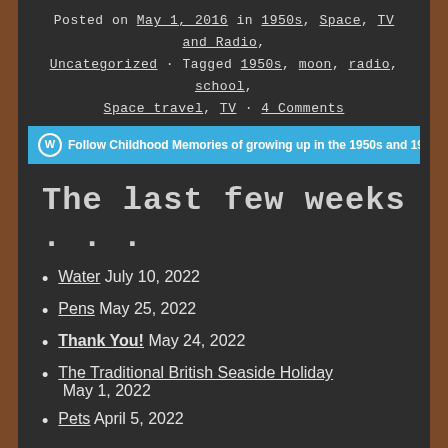Posted on May 1, 2016 in 1950s, Space, TV and Radio, Uncategorized · Tagged 1950s, moon, radio, school, Space travel, TV · 4 Comments
Follow Childhood Memories of growing up in the 1950s and 1960
The last few weeks . . .
Water July 10, 2022
Pens May 25, 2022
Thank You! May 24, 2022
The Traditional British Seaside Holiday May 1, 2022
Pets April 5, 2022